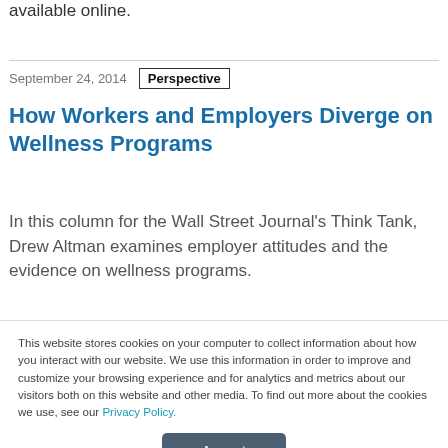available online.
September 24, 2014
Perspective
How Workers and Employers Diverge on Wellness Programs
In this column for the Wall Street Journal's Think Tank, Drew Altman examines employer attitudes and the evidence on wellness programs.
This website stores cookies on your computer to collect information about how you interact with our website. We use this information in order to improve and customize your browsing experience and for analytics and metrics about our visitors both on this website and other media. To find out more about the cookies we use, see our Privacy Policy.
Accept